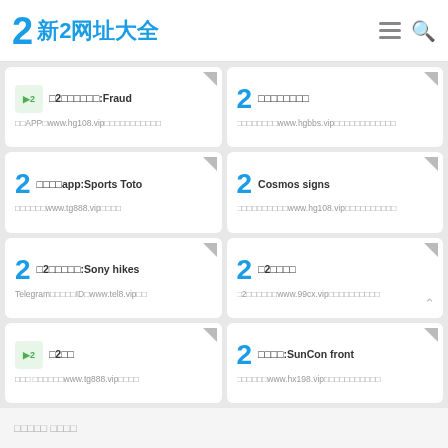2 新2网址大全
□2□□□□□□:Fraud - □□APP□www.hg108.vip□□□□□□□□□□□
□□□□□□□□ - □□□□□□□□www.hgbbs.vip□□□□□□□□□□□□
□□□□app:Sports Toto - □□□□□□www.tg888.vip□□□□
Cosmos signs - □□□□□□□□□□www.hg108.vip□□□□□□□□□□
□2□□□□□:Sony hikes - Telegram□□□□□ID□www.tel8.vip□□
□2□□□□ - □2□□□□□□www.99cx.vip□□□□□□□□□□
□2□□ - □□□ □□□□□□www.tg888.vip□□□□
□□□□:SunCon front - □□□□□□www.hx198.vip□□□□□□□□□□□
□□□□□ □□□□